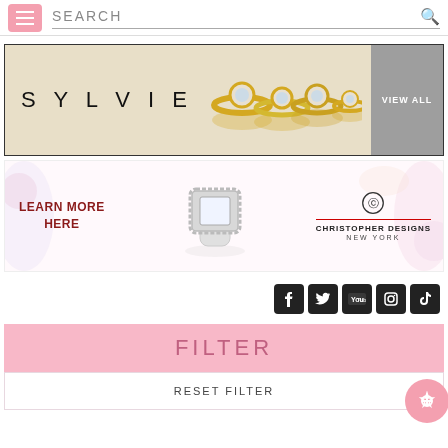SEARCH
[Figure (illustration): Sylvie jewelry brand advertisement banner showing gold diamond rings with 'VIEW ALL' button]
[Figure (illustration): Christopher Designs New York jewelry advertisement banner with diamond halo ring and 'LEARN MORE HERE' text]
[Figure (infographic): Social media icons row: Facebook, Twitter, YouTube, Instagram, TikTok]
FILTER
RESET FILTER